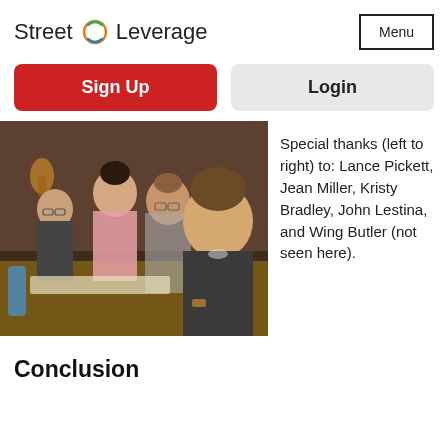Street Leverage
Menu
Sign Up
Login
[Figure (photo): Several people seated at a table in a conference or meeting room setting, viewed from the side. Multiple individuals visible, including a man in glasses on the left, a woman in pink, a woman with glasses in the middle, and a young man in a dark shirt in the foreground on the right.]
Special thanks (left to right) to: Lance Pickett, Jean Miller, Kristy Bradley, John Lestina, and Wing Butler (not seen here).
Conclusion